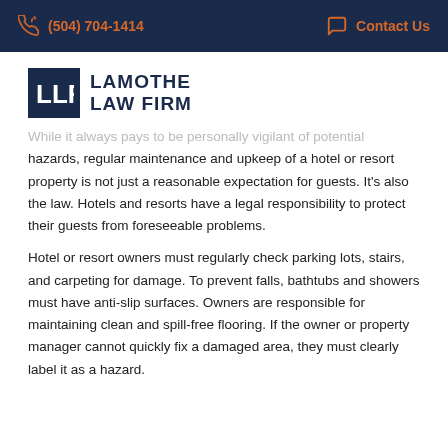(504) 704-1414   Contact Us
[Figure (logo): Lamothe Law Firm logo with LLF monogram in dark navy box and firm name text]
While it always pays to be personally vigilant of potential hazards, regular maintenance and upkeep of a hotel or resort property is not just a reasonable expectation for guests. It's also the law. Hotels and resorts have a legal responsibility to protect their guests from foreseeable problems.
Hotel or resort owners must regularly check parking lots, stairs, and carpeting for damage. To prevent falls, bathtubs and showers must have anti-slip surfaces. Owners are responsible for maintaining clean and spill-free flooring. If the owner or property manager cannot quickly fix a damaged area, they must clearly label it as a hazard.